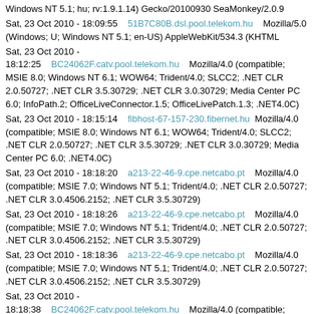Windows NT 5.1; hu; rv:1.9.1.14) Gecko/20100930 SeaMonkey/2.0.9
Sat, 23 Oct 2010 - 18:09:55    51B7C80B.dsl.pool.telekom.hu    Mozilla/5.0 (Windows; U; Windows NT 5.1; en-US) AppleWebKit/534.3 (KHTML
Sat, 23 Oct 2010 - 18:12:25    BC24062F.catv.pool.telekom.hu    Mozilla/4.0 (compatible; MSIE 8.0; Windows NT 6.1; WOW64; Trident/4.0; SLCC2; .NET CLR 2.0.50727; .NET CLR 3.5.30729; .NET CLR 3.0.30729; Media Center PC 6.0; InfoPath.2; OfficeLiveConnector.1.5; OfficeLivePatch.1.3; .NET4.0C)
Sat, 23 Oct 2010 - 18:15:14    fibhost-67-157-230.fibernet.hu    Mozilla/4.0 (compatible; MSIE 8.0; Windows NT 6.1; WOW64; Trident/4.0; SLCC2; .NET CLR 2.0.50727; .NET CLR 3.5.30729; .NET CLR 3.0.30729; Media Center PC 6.0; .NET4.0C)
Sat, 23 Oct 2010 - 18:18:20    a213-22-46-9.cpe.netcabo.pt    Mozilla/4.0 (compatible; MSIE 7.0; Windows NT 5.1; Trident/4.0; .NET CLR 2.0.50727; .NET CLR 3.0.4506.2152; .NET CLR 3.5.30729)
Sat, 23 Oct 2010 - 18:18:26    a213-22-46-9.cpe.netcabo.pt    Mozilla/4.0 (compatible; MSIE 7.0; Windows NT 5.1; Trident/4.0; .NET CLR 2.0.50727; .NET CLR 3.0.4506.2152; .NET CLR 3.5.30729)
Sat, 23 Oct 2010 - 18:18:36    a213-22-46-9.cpe.netcabo.pt    Mozilla/4.0 (compatible; MSIE 7.0; Windows NT 5.1; Trident/4.0; .NET CLR 2.0.50727; .NET CLR 3.0.4506.2152; .NET CLR 3.5.30729)
Sat, 23 Oct 2010 - 18:18:38    BC24062F.catv.pool.telekom.hu    Mozilla/4.0 (compatible; MSIE 8.0; Windows NT 6.1; WOW64; Trident/4.0; SLCC2; .NET CLR 2.0.50727; .NET CLR 3.5.30729; .NET CLR 3.0.30729; Media Center PC 6.0; InfoPath.2; OfficeLiveConnector.1.5;